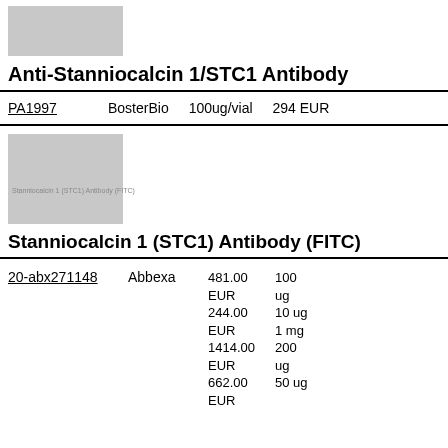[Figure (photo): Gray placeholder image for Anti-Stanniocalcin 1/STC1 Antibody product]
Anti-Stanniocalcin 1/STC1 Antibody
| Catalog ID | Supplier | Amount | Price |
| --- | --- | --- | --- |
| PA1997 | BosterBio | 100ug/vial | 294 EUR |
[Figure (photo): Gray placeholder image for Stanniocalcin 1 (STC1) Antibody (FITC) product with watermark text]
Stanniocalcin 1 (STC1) Antibody (FITC)
| Catalog ID | Supplier | Price | Amount |
| --- | --- | --- | --- |
| 20-abx271148 | Abbexa | 481.00 EUR | 100 ug |
| 20-abx271148 | Abbexa | 244.00 EUR | 10 ug |
| 20-abx271148 | Abbexa | 1414.00 EUR | 1 mg |
| 20-abx271148 | Abbexa | 662.00 EUR | 200 ug |
| 20-abx271148 | Abbexa | EUR | 50 ug |